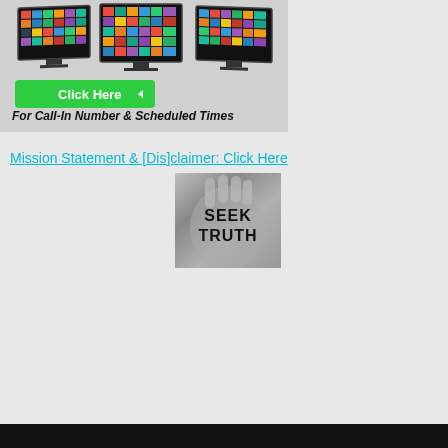[Figure (photo): Multiple TV screens displaying colorful content tiles, with a green 'Click Here' button and text 'For Call-In Number & Scheduled Times']
Mission Statement & [Dis]claimer: Click Here
[Figure (photo): Black and white photo of an open hand palm with 'SEEK TRUTH' written on it in black marker]